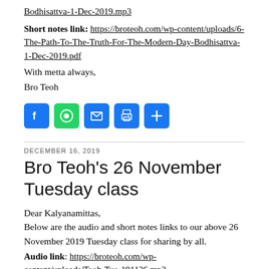Bodhisattva-1-Dec-2019.mp3
Short notes link: https://broteoh.com/wp-content/uploads/6-The-Path-To-The-Truth-For-The-Modern-Day-Bodhisattva-1-Dec-2019.pdf
With metta always,
Bro Teoh
[Figure (infographic): Social sharing icons: Facebook (blue), WhatsApp (green), Email (blue), Print (blue), Share (blue)]
DECEMBER 16, 2019
Bro Teoh's 26 November Tuesday class
Dear Kalyanamittas,
Below are the audio and short notes links to our above 26 November 2019 Tuesday class for sharing by all.
Audio link: https://broteoh.com/wp-content/uploads/Teoh-Tue-191126.mp3